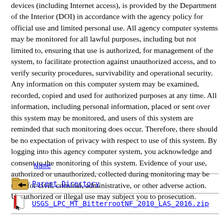devices (including Internet access), is provided by the Department of the Interior (DOI) in accordance with the agency policy for official use and limited personal use. All agency computer systems may be monitored for all lawful purposes, including but not limited to, ensuring that use is authorized, for management of the system, to facilitate protection against unauthorized access, and to verify security procedures, survivability and operational security. Any information on this computer system may be examined, recorded, copied and used for authorized purposes at any time. All information, including personal information, placed or sent over this system may be monitored, and users of this system are reminded that such monitoring does occur. Therefore, there should be no expectation of privacy with respect to use of this system. By logging into this agency computer system, you acknowledge and consent to the monitoring of this system. Evidence of your use, authorized or unauthorized, collected during monitoring may be used for civil, criminal, administrative, or other adverse action. Unauthorized or illegal use may subject you to prosecution.
| Name |
| --- |
| Parent Directory |
| USGS_LPC_MT_BitterrootNF_2010_LAS_2016.zip |